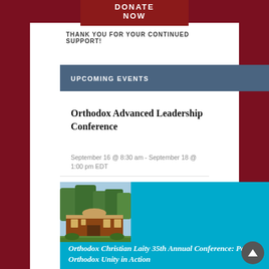[Figure (other): DONATE NOW button in dark red/maroon background]
THANK YOU FOR YOUR CONTINUED SUPPORT!
UPCOMING EVENTS
Orthodox Advanced Leadership Conference
September 16 @ 8:30 am - September 18 @ 1:00 pm EDT
[Figure (photo): Photo of a church building with trees in background, followed by a cyan/blue banner for Orthodox Christian Laity 35th Annual Conference: Pan-Orthodox Unity in Action]